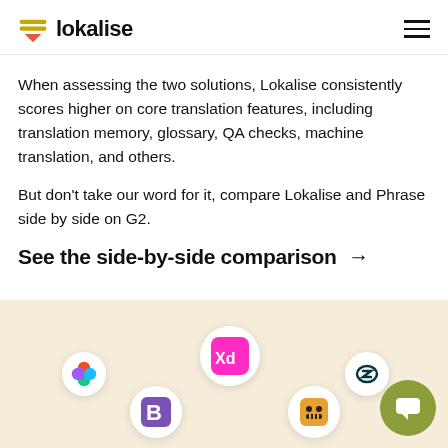lokalise
When assessing the two solutions, Lokalise consistently scores higher on core translation features, including translation memory, glossary, QA checks, machine translation, and others.
But don't take our word for it, compare Lokalise and Phrase side by side on G2.
See the side-by-side comparison →
[Figure (illustration): Beige/cream colored panel showing various app integration logos as circular icons: Figma, Bootstrap, Adobe XD, a cartoon character icon, Zendesk, and an Amazon/chat bubble icon on olive background]